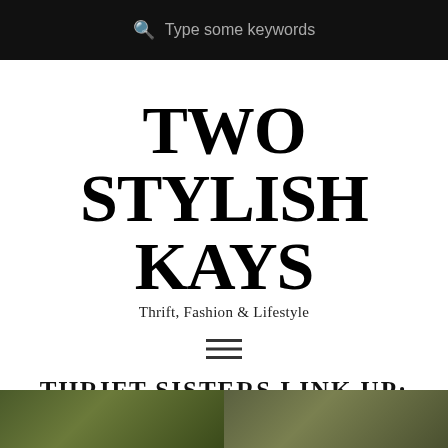Type some keywords
TWO STYLISH KAYS
Thrift, Fashion & Lifestyle
[Figure (other): Hamburger menu icon (three horizontal lines)]
THRIFT SISTERS LINK UP: DRESS PANTS
WEDNESDAY, SEPTEMBER 17, 2014
[Figure (photo): Two side-by-side outdoor photos partially visible at bottom of page]